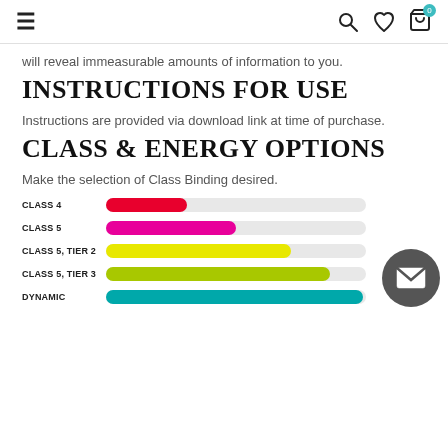≡ [navigation icons: search, heart, cart(0)]
will reveal immeasurable amounts of information to you.
INSTRUCTIONS FOR USE
Instructions are provided via download link at time of purchase.
CLASS & ENERGY OPTIONS
Make the selection of Class Binding desired.
[Figure (bar-chart): Class Binding Options]